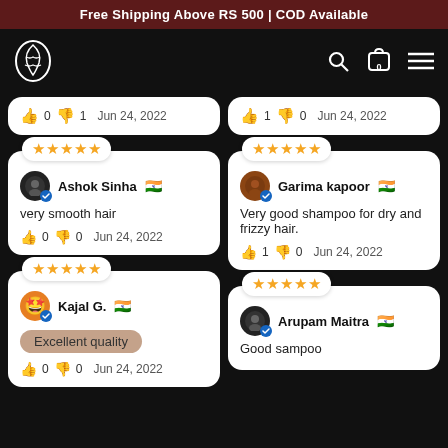Free Shipping Above RS 500 | COD Available
[Figure (logo): Leaf/hair brand logo in white outline on black background]
👍 0 👎 1   Jun 24, 2022
👍 1 👎 0   Jun 24, 2022
★★★★★  Ashok Sinha 🇮🇳  very smooth hair  👍 0 👎 0   Jun 24, 2022
★★★★★  Garima kapoor 🇮🇳  Very good shampoo for dry and frizzy hair.  👍 1 👎 0   Jun 24, 2022
★★★★★  Kajal G. 🇮🇳  Excellent quality  👍 0 👎 0   Jun 24, 2022
★★★★★  Arupam Maitra 🇮🇳  Good sampoo